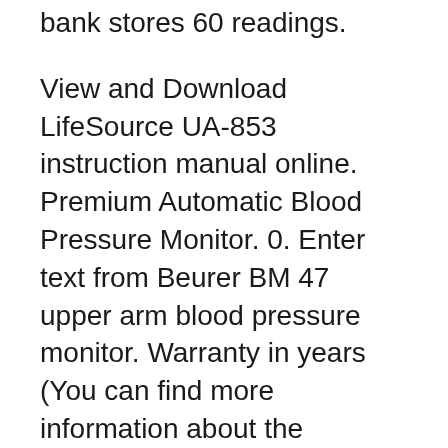bank stores 60 readings.
View and Download LifeSource UA-853 instruction manual online. Premium Automatic Blood Pressure Monitor. 0. Enter text from Beurer BM 47 upper arm blood pressure monitor. Warranty in years (You can find more information about the warranty conditions in the manual.) 5: HMV
View and Download Radio Shack Life Wise user manual online. Talking Blood Pressure Monitor. Life Wise Blood Pressure Monitor pdf manual download. The management of hypertension includes lifestyle changes and the use of medications. Proper treatment of